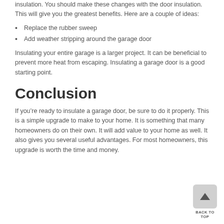insulation. You should make these changes with the door insulation. This will give you the greatest benefits. Here are a couple of ideas:
Replace the rubber sweep
Add weather stripping around the garage door
Insulating your entire garage is a larger project. It can be beneficial to prevent more heat from escaping. Insulating a garage door is a good starting point.
Conclusion
If you’re ready to insulate a garage door, be sure to do it properly. This is a simple upgrade to make to your home. It is something that many homeowners do on their own. It will add value to your home as well. It also gives you several useful advantages. For most homeowners, this upgrade is worth the time and money.